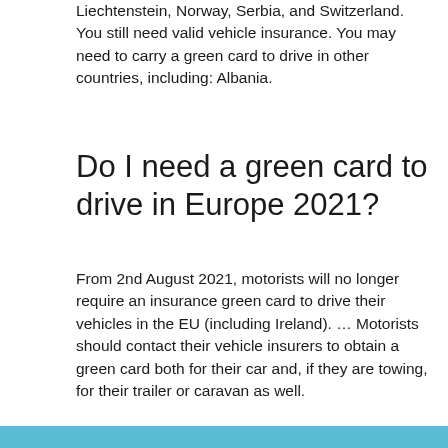Liechtenstein, Norway, Serbia, and Switzerland. You still need valid vehicle insurance. You may need to carry a green card to drive in other countries, including: Albania.
Do I need a green card to drive in Europe 2021?
From 2nd August 2021, motorists will no longer require an insurance green card to drive their vehicles in the EU (including Ireland). … Motorists should contact their vehicle insurers to obtain a green card both for their car and, if they are towing, for their trailer or caravan as well.